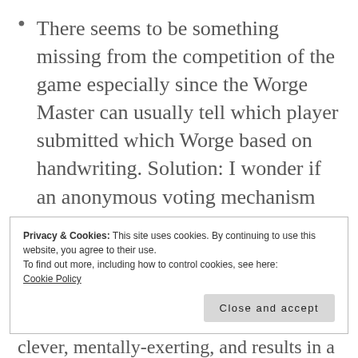There seems to be something missing from the competition of the game especially since the Worge Master can usually tell which player submitted which Worge based on handwriting. Solution: I wonder if an anonymous voting mechanism could be integrated.
Privacy & Cookies: This site uses cookies. By continuing to use this website, you agree to their use.
To find out more, including how to control cookies, see here:
Cookie Policy
Close and accept
clever, mentally-exerting, and results in a